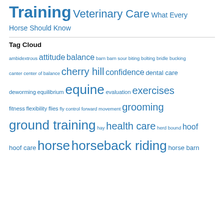Training Veterinary Care What Every Horse Should Know
Tag Cloud
ambidextrous attitude balance barn barn sour biting bolting bridle bucking canter center of balance cherry hill confidence dental care deworming equilibrium equine evaluation exercises fitness flexibility flies fly control forward movement grooming ground training hay health care herd bound hoof hoof care horse horseback riding horse barn